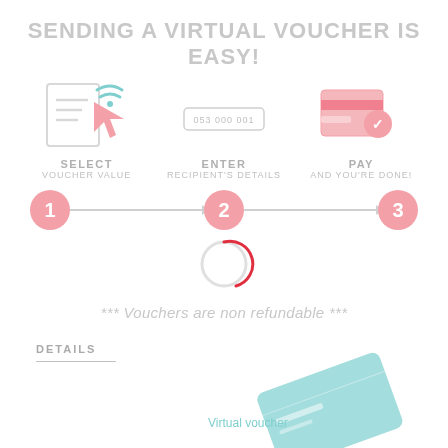SENDING A VIRTUAL VOUCHER IS EASY!
[Figure (infographic): Three-step process infographic showing: Step 1 SELECT VOUCHER VALUE (document with cursor icon), Step 2 ENTER RECIPIENT'S DETAILS (phone number input field), Step 3 PAY AND YOU'RE DONE! (credit card with checkmark). Below is a progress indicator with circles numbered 1, 2, 3 connected by arrows, with a loading spinner at step 2.]
*** Vouchers are non refundable ***
DETAILS
[Figure (illustration): Partial view of a teal/mint colored virtual voucher card tilted diagonally, with text 'Virtual voucher' visible at the bottom left]